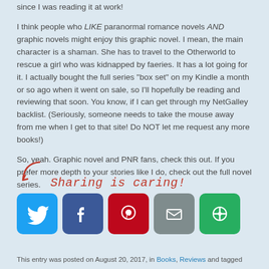since I was reading it at work!
I think people who LIKE paranormal romance novels AND graphic novels might enjoy this graphic novel. I mean, the main character is a shaman. She has to travel to the Otherworld to rescue a girl who was kidnapped by faeries. It has a lot going for it. I actually bought the full series “box set” on my Kindle a month or so ago when it went on sale, so I’ll hopefully be reading and reviewing that soon. You know, if I can get through my NetGalley backlist. (Seriously, someone needs to take the mouse away from me when I get to that site! Do NOT let me request any more books!)
So, yeah. Graphic novel and PNR fans, check this out. If you prefer more depth to your stories like I do, check out the full novel series.
[Figure (infographic): Sharing is caring! header with arrow graphic and social media share buttons for Twitter, Facebook, Pinterest, Email, and More options]
This entry was posted on August 20, 2017, in Books, Reviews and tagged